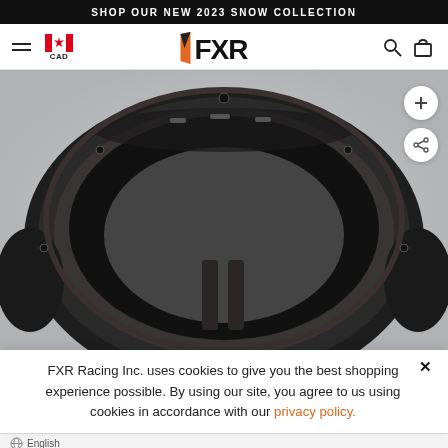SHOP OUR NEW 2023 SNOW COLLECTION
[Figure (logo): FXR Racing logo with orange flame and bold FXR text]
[Figure (photo): Interior view of a black motorcycle/snowmobile helmet liner showing mesh padding and structural ribs]
FXR Racing Inc. uses cookies to give you the best shopping experience possible. By using our site, you agree to us using cookies in accordance with our privacy policy.